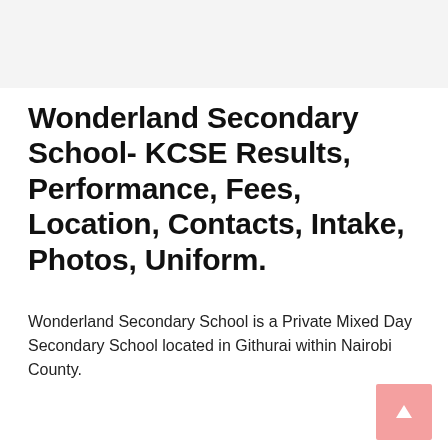Wonderland Secondary School- KCSE Results, Performance, Fees, Location, Contacts, Intake, Photos, Uniform.
Wonderland Secondary School is a Private Mixed Day Secondary School located in Githurai within Nairobi County.